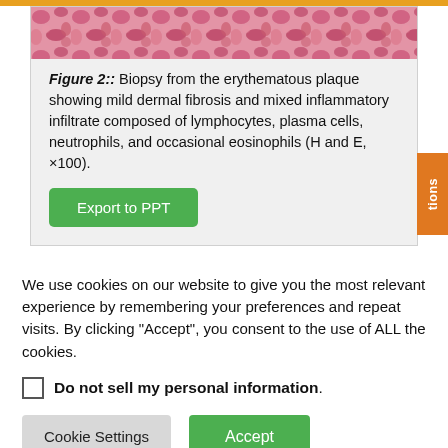[Figure (photo): Microscopy biopsy image showing erythematous plaque tissue with pink/magenta staining]
Figure 2:: Biopsy from the erythematous plaque showing mild dermal fibrosis and mixed inflammatory infiltrate composed of lymphocytes, plasma cells, neutrophils, and occasional eosinophils (H and E, ×100).
We use cookies on our website to give you the most relevant experience by remembering your preferences and repeat visits. By clicking "Accept", you consent to the use of ALL the cookies.
Do not sell my personal information.